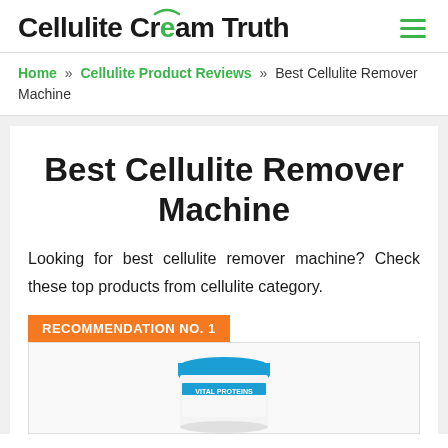Cellulite Cream Truth
Home » Cellulite Product Reviews » Best Cellulite Remover Machine
Best Cellulite Remover Machine
Looking for best cellulite remover machine? Check these top products from cellulite category.
RECOMMENDATION NO. 1
[Figure (photo): Product image of Vital Proteins supplement container with blue lid]